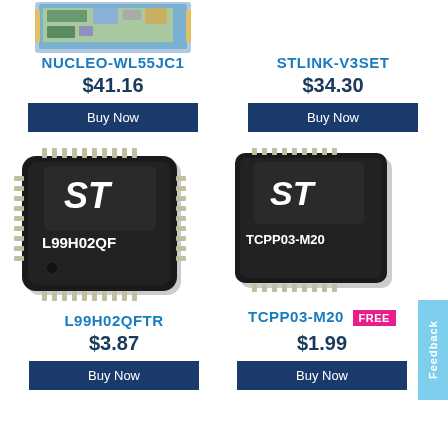[Figure (photo): NUCLEO-WL55JC1 development board PCB image]
NUCLEO-WL55JC1
$41.16
Buy Now
STLINK-V3SET
$34.30
Buy Now
[Figure (photo): L99H02QF IC chip in QFP package with ST logo]
L99H02QFTR
$3.87
Buy Now
[Figure (photo): TCPP03-M20 IC chip in QFN package with ST logo]
TCPP03-M20 FREE
$1.99
Buy Now